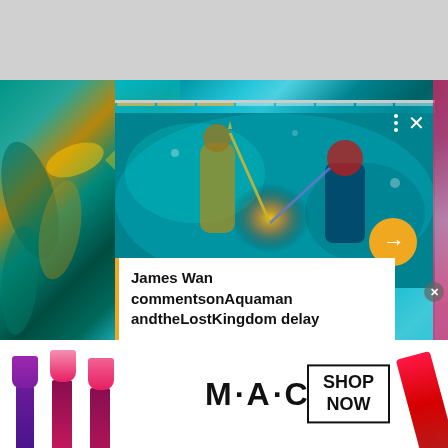[Figure (screenshot): Article card with Aquaman and the Lost Kingdom movie scene showing two characters fighting underwater with tridents, overlaid with progress bars, navigation controls, an arrow button, and a text overlay]
James Wan commentsonAquaman andtheLostKingdom delay
[Figure (photo): M·A·C cosmetics advertisement banner showing multiple lipsticks in purple, pink, and red colors on the left and right sides, M·A·C logo in the center, and a SHOP NOW button in a rectangle]